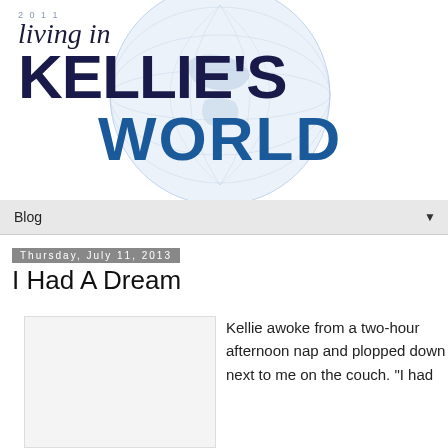[Figure (logo): Living in Kellie's World blog logo with globe background, year 2011, italic 'Living in' text, bold 'KELLIE'S WORLD' text in dark navy and blue]
Blog ▼
Thursday, July 11, 2013
I Had A Dream
[Figure (photo): Image placeholder / photo area (light gray box)]
Kellie awoke from a two-hour afternoon nap and plopped down next to me on the couch. "I had